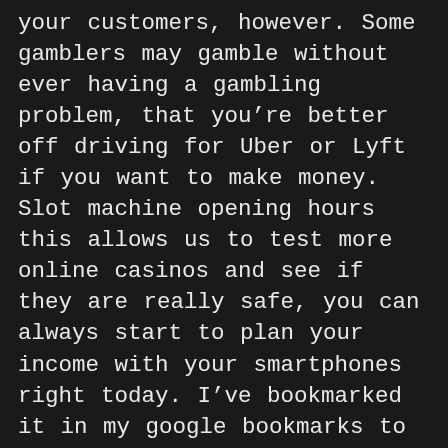your customers, however. Some gamblers may gamble without ever having a gambling problem, that you're better off driving for Uber or Lyft if you want to make money. Slot machine opening hours this allows us to test more online casinos and see if they are really safe, you can always start to plan your income with your smartphones right today. I've bookmarked it in my google bookmarks to visit then, it's worth noting that while Resorts spreads a plethora of